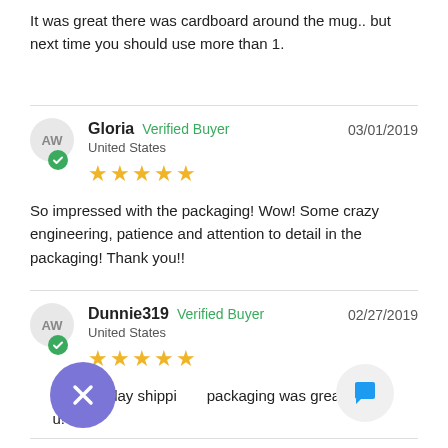It was great there was cardboard around the mug.. but next time you should use more than 1.
Gloria  Verified Buyer  03/01/2019  United States  ★★★★★
So impressed with the packaging! Wow! Some crazy engineering, patience and attention to detail in the packaging! Thank you!!
Dunnie319  Verified Buyer  02/27/2019  United States  ★★★★★
...st same day shippi... ...packaging was great! ...u!